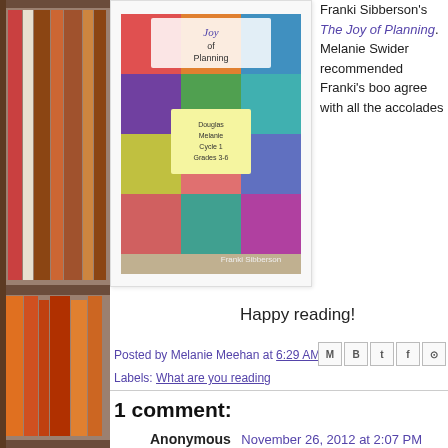[Figure (photo): Book cover for 'The Joy of Planning' by Franki Sibberson (Douglas, Melanie, Cycle 1, Grades 3-6) shown in a white card frame against a bookshelf background. Colorful geometric squares on cover.]
Franki Sibberson's The Joy of Planning. Melanie Swider recommended Franki's book and I agree with all the accolades
Happy reading!
Posted by Melanie Meehan at 6:29 AM
Labels: What are you reading
1 comment:
Anonymous November 26, 2012 at 2:07 PM
I can't wait to get to Unspoken when it gets in to o... your thoughts on using This is Not My Hat to work on
--Lorna
Reply